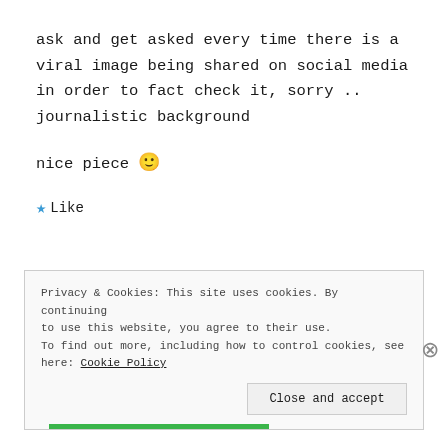ask and get asked every time there is a viral image being shared on social media in order to fact check it, sorry .. journalistic background
nice piece 🙂
★ Like
Privacy & Cookies: This site uses cookies. By continuing to use this website, you agree to their use. To find out more, including how to control cookies, see here: Cookie Policy
Close and accept